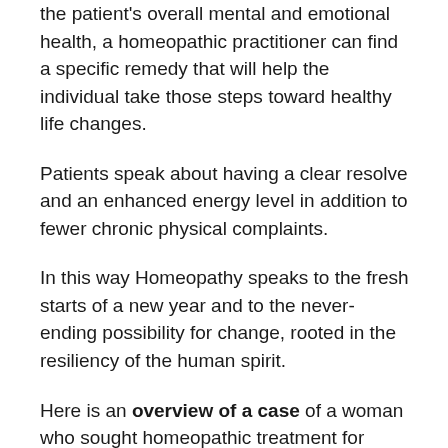the patient's overall mental and emotional health, a homeopathic practitioner can find a specific remedy that will help the individual take those steps toward healthy life changes.
Patients speak about having a clear resolve and an enhanced energy level in addition to fewer chronic physical complaints.
In this way Homeopathy speaks to the fresh starts of a new year and to the never-ending possibility for change, rooted in the resiliency of the human spirit.
Here is an overview of a case of a woman who sought homeopathic treatment for weight management and eating disorder. Tula came with various problems. She described herself as a past binge eater. More recently she has been finding herself not able to easily swallow food, resulting in gagging and choking with possible